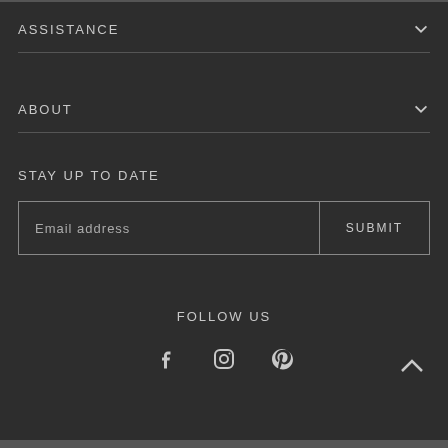ASSISTANCE
ABOUT
STAY UP TO DATE
Email address
SUBMIT
FOLLOW US
[Figure (illustration): Social media icons: Facebook (f), Instagram (camera), Pinterest (p)]
[Figure (illustration): Back to top arrow (chevron up)]